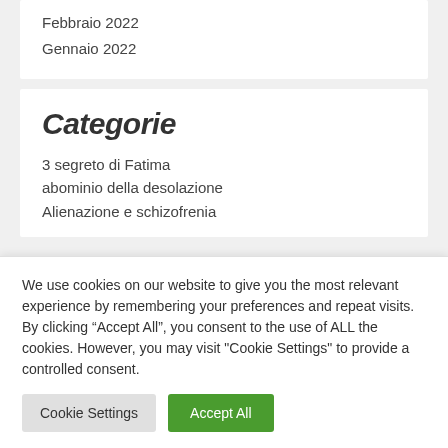Febbraio 2022
Gennaio 2022
Categorie
3 segreto di Fatima
abominio della desolazione
Alienazione e schizofrenia
We use cookies on our website to give you the most relevant experience by remembering your preferences and repeat visits. By clicking “Accept All”, you consent to the use of ALL the cookies. However, you may visit "Cookie Settings" to provide a controlled consent.